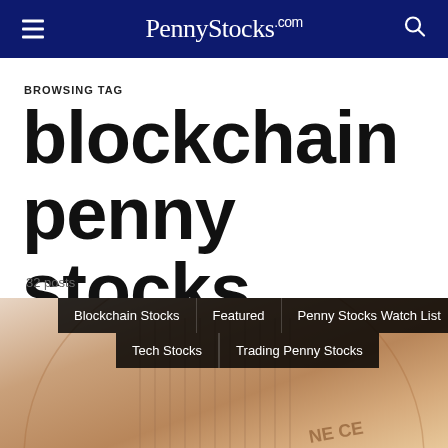PennyStocks.com
BROWSING TAG
blockchain penny stocks
32 posts
[Figure (photo): Close-up photo of a US one-cent penny coin showing Lincoln Memorial on the reverse, with category tags overlaid: Blockchain Stocks, Featured, Penny Stocks Watch List, Tech Stocks, Trading Penny Stocks]